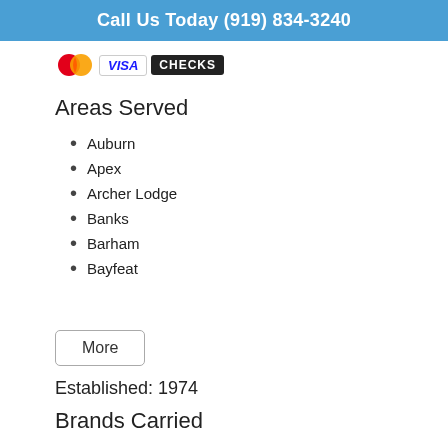Call Us Today (919) 834-3240
[Figure (other): Payment method icons: Mastercard logo, Visa button, Checks button]
Areas Served
Auburn
Apex
Archer Lodge
Banks
Barham
Bayfeat
More
Established: 1974
Brands Carried
Trupan - Airflyte JDS Industries & Many more
Affiliations
www.airflyte.com www.corpawds.com/prices www.discounttrophy.com